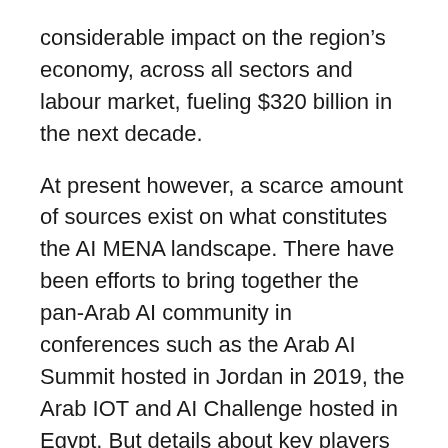considerable impact on the region's economy, across all sectors and labour market, fueling $320 billion in the next decade.
At present however, a scarce amount of sources exist on what constitutes the AI MENA landscape. There have been efforts to bring together the pan-Arab AI community in conferences such as the Arab AI Summit hosted in Jordan in 2019, the Arab IOT and AI Challenge hosted in Egypt. But details about key players and entities, policies and research that revolve around AI are sparsely documented. In order to fully exploit the potential of existing capacities and understand gaps in practices, it is essential to map this ecosystem.
While this is not meant to be an exhaustive map, we do aim to capture essential data to encourage future work. We hope this snapshot will be a first step from